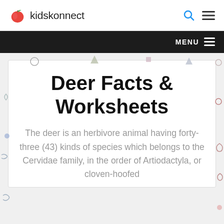kidskonnect
Deer Facts & Worksheets
The deer is an herbivore animal having forty-three (43) kinds of species which belongs to the Cervidae family, in the order of Artiodactyla, or cloven-hoofed